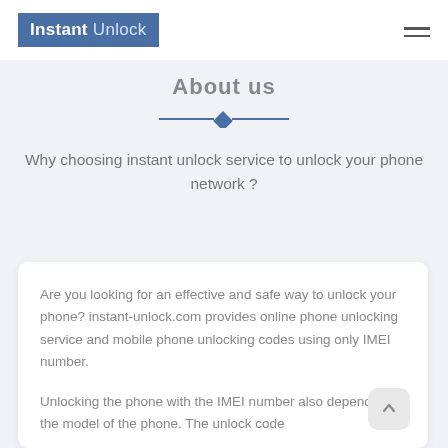Instant Unlock
About us
Why choosing instant unlock service to unlock your phone network ?
Are you looking for an effective and safe way to unlock your phone? instant-unlock.com provides online phone unlocking service and mobile phone unlocking codes using only IMEI number.
Unlocking the phone with the IMEI number also depends on the model of the phone. The unlock code is given by the manufacturer. All the other iPhon...